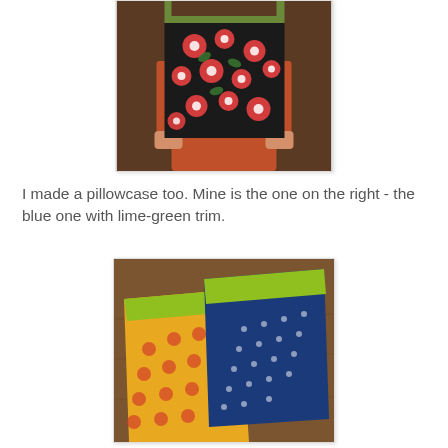[Figure (photo): Person holding up a handmade pillowcase with a floral print (red and white flowers on dark background) and a green trim at the top.]
I made a pillowcase too. Mine is the one on the right - the blue one with lime-green trim.
[Figure (photo): Two handmade pillowcases laid flat on a wooden table. Left one is yellow/orange with polka dots and a lime-green trim. Right one is navy blue with small dots and a lime-green trim.]